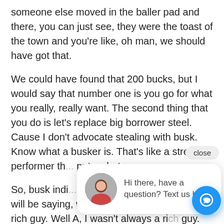someone else moved in the baller pad and there, you can just see, they were the toast of the town and you're like, oh man, we should have got that.
We could have found that 200 bucks, but I would say that number one is you go for what you really, really want. The second thing that you do is let's replace big borrower steel. Cause I don't advocate stealing with busk. Know what a busker is. That's like a street performer th... puts a hat o...
So, busk indi... find that do... you at home will be saying, well, that's easy for you to say rich guy. Well A, I wasn't always a rich guy. I'm self-made. And B even as a rich guy, I often don't have the down payments when I need them. Right. So I think down payments is all...
[Figure (other): Chat widget popup with close button, circular avatar of a woman, and text 'Hi there, have a question? Text us here.' alongside a blue circular chat button icon.]